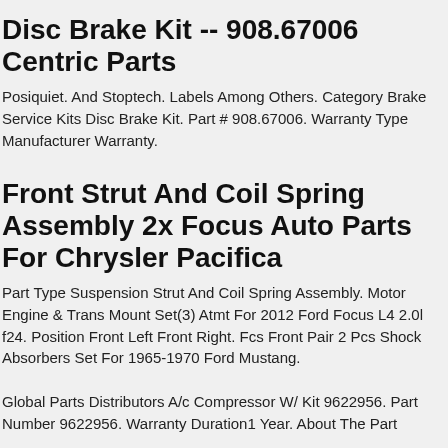Disc Brake Kit -- 908.67006 Centric Parts
Posiquiet. And Stoptech. Labels Among Others. Category Brake Service Kits Disc Brake Kit. Part # 908.67006. Warranty Type Manufacturer Warranty.
Front Strut And Coil Spring Assembly 2x Focus Auto Parts For Chrysler Pacifica
Part Type Suspension Strut And Coil Spring Assembly. Motor Engine & Trans Mount Set(3) Atmt For 2012 Ford Focus L4 2.0l f24. Position Front Left Front Right. Fcs Front Pair 2 Pcs Shock Absorbers Set For 1965-1970 Ford Mustang.
Global Parts Distributors A/c Compressor W/ Kit 9622956. Part Number 9622956. Warranty Duration1 Year. About The Part